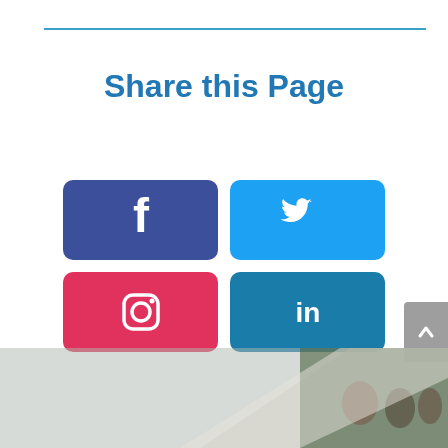Share this Page
[Figure (infographic): Social media share buttons: Facebook (blue-purple), Twitter (light blue), Instagram (red-pink), LinkedIn (dark blue), each as rounded rectangles with white icons]
[Figure (photo): Partial photo at bottom of page showing people at an outdoor gathering, overlaid with a diagonal geometric shape]